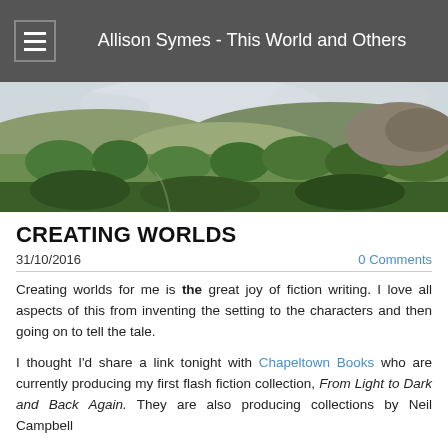Allison Symes - This World and Others
[Figure (photo): Panoramic landscape photo of rolling green hills and trees under a cloudy sky]
CREATING WORLDS
31/10/2016   0 Comments
Creating worlds for me is the great joy of fiction writing. I love all aspects of this from inventing the setting to the characters and then going on to tell the tale.
I thought I'd share a link tonight with Chapeltown Books who are currently producing my first flash fiction collection, From Light to Dark and Back Again. They are also producing collections by Neil Campbell